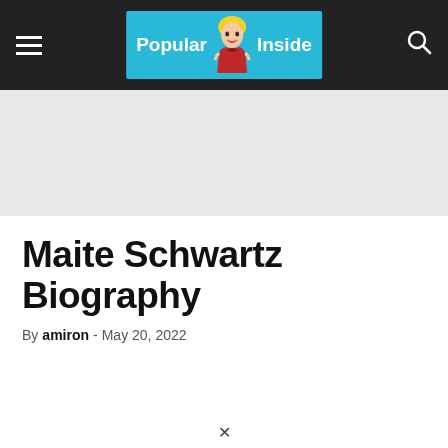Popular Inside
[Figure (illustration): Gray advertisement banner placeholder area]
Maite Schwartz Biography
By amiron - May 20, 2022